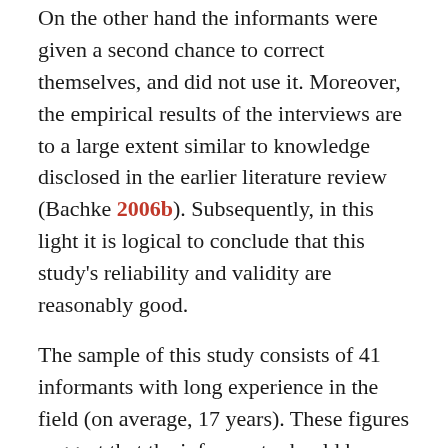On the other hand the informants were given a second chance to correct themselves, and did not use it. Moreover, the empirical results of the interviews are to a large extent similar to knowledge disclosed in the earlier literature review (Bachke 2006b). Subsequently, in this light it is logical to conclude that this study's reliability and validity are reasonably good.
The sample of this study consists of 41 informants with long experience in the field (on average, 17 years). These figures suggest that the informants should have been able to take note of changes in naming over time, and therefore also to describe them in a reliable way. The sample is inter-disciplinarily composed, and it is drawn from different 'arenas' dealing with people with intellectual disability. One might ask, does the sample